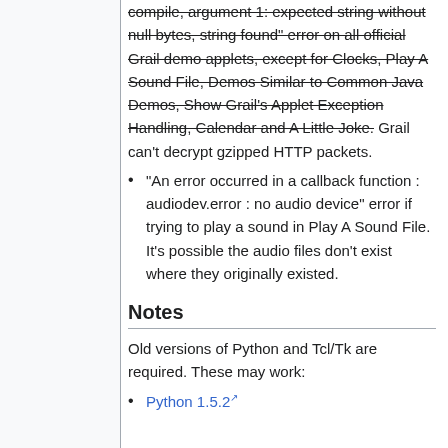compile, argument 1: expected string without null bytes, string found" error on all official Grail demo applets, except for Clocks, Play A Sound File, Demos Similar to Common Java Demos, Show Grail's Applet Exception Handling, Calendar and A Little Joke. Grail can't decrypt gzipped HTTP packets.
"An error occurred in a callback function : audiodev.error : no audio device" error if trying to play a sound in Play A Sound File. It's possible the audio files don't exist where they originally existed.
Notes
Old versions of Python and Tcl/Tk are required. These may work:
Python 1.5.2